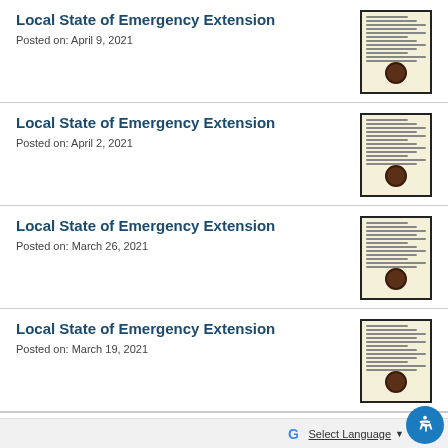Local State of Emergency Extension
Posted on: April 9, 2021
Local State of Emergency Extension
Posted on: April 2, 2021
Local State of Emergency Extension
Posted on: March 26, 2021
Local State of Emergency Extension
Posted on: March 19, 2021
Local State of Emergency Extension
Posted on: March 12, 2021
[Figure (screenshot): Google Translate widget with accessibility icon]